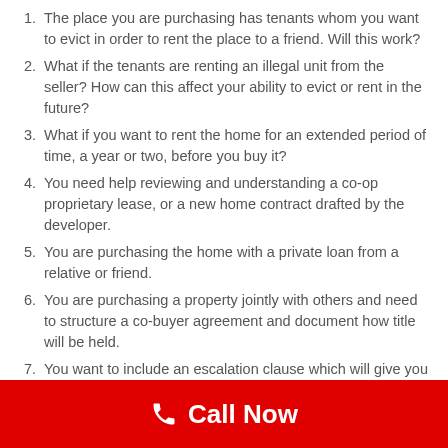The place you are purchasing has tenants whom you want to evict in order to rent the place to a friend. Will this work?
What if the tenants are renting an illegal unit from the seller? How can this affect your ability to evict or rent in the future?
What if you want to rent the home for an extended period of time, a year or two, before you buy it?
You need help reviewing and understanding a co-op proprietary lease, or a new home contract drafted by the developer.
You are purchasing the home with a private loan from a relative or friend.
You are purchasing a property jointly with others and need to structure a co-buyer agreement and document how title will be held.
You want to include an escalation clause which will give you the right to meet or exceed any competing offer that the selle
Call Now